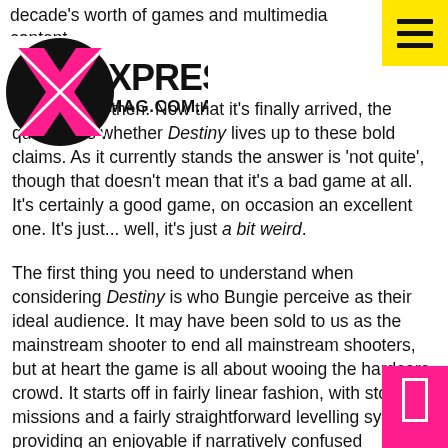decade's worth of games and multimedia content.
[Figure (logo): Xpress Mag logo: black circle with pink X shape, text XPRESS MAG.COM.AU in black]
...etty big deal then. Now that it's finally arrived, the question is whether Destiny lives up to these bold claims. As it currently stands the answer is 'not quite', though that doesn't mean that it's a bad game at all. It's certainly a good game, on occasion an excellent one. It's just... well, it's just a bit weird.
The first thing you need to understand when considering Destiny is who Bungie perceive as their ideal audience. It may have been sold to us as the mainstream shooter to end all mainstream shooters, but at heart the game is all about wooing the hardcore crowd. It starts off in fairly linear fashion, with story missions and a fairly straightforward levelling system providing an enjoyable if narratively confused experience.
However, it soon becomes apparent that Bungie have very, very strict ideas about how they think you